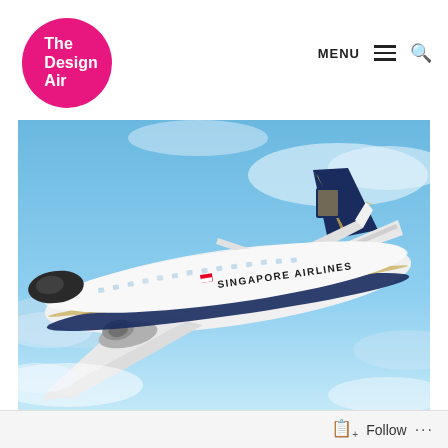[Figure (logo): The Design Air logo — white text on a magenta/pink circle reading 'The Design Air']
MENU ≡ 🔍
[Figure (photo): A Singapore Airlines Airbus A350 aircraft in flight against a blue sky with clouds, viewed from a low angle showing the underside. The fuselage is white with 'SINGAPORE AIRLINES' text and a Singapore flag, with the dark blue and gold livery on the tail and engines.]
Follow ...